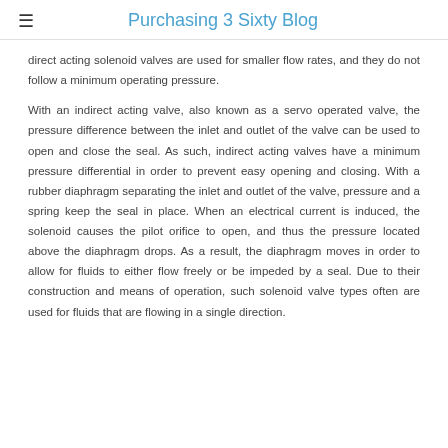Purchasing 3 Sixty Blog
direct acting solenoid valves are used for smaller flow rates, and they do not follow a minimum operating pressure.
With an indirect acting valve, also known as a servo operated valve, the pressure difference between the inlet and outlet of the valve can be used to open and close the seal. As such, indirect acting valves have a minimum pressure differential in order to prevent easy opening and closing. With a rubber diaphragm separating the inlet and outlet of the valve, pressure and a spring keep the seal in place. When an electrical current is induced, the solenoid causes the pilot orifice to open, and thus the pressure located above the diaphragm drops. As a result, the diaphragm moves in order to allow for fluids to either flow freely or be impeded by a seal. Due to their construction and means of operation, such solenoid valve types often are used for fluids that are flowing in a single direction.